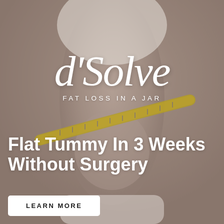[Figure (photo): Background photo of a woman's midsection wearing a white sports bra and underwear, holding a yellow measuring tape around her waist. The image has a warm grey-brown overlay tone.]
d'Solve
FAT LOSS IN A JAR
Flat Tummy In 3 Weeks Without Surgery
LEARN MORE